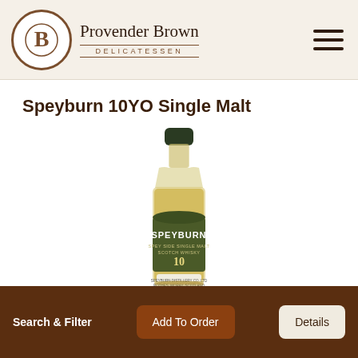Provender Brown DELICATESSEN
Speyburn 10YO Single Malt
[Figure (photo): A miniature bottle of Speyburn 10 Year Old Single Malt Scotch Whisky with a dark green cap, amber-coloured liquid, and a dark olive/brown label reading SPEYBURN 10.]
Search & Filter  Add To Order  Details